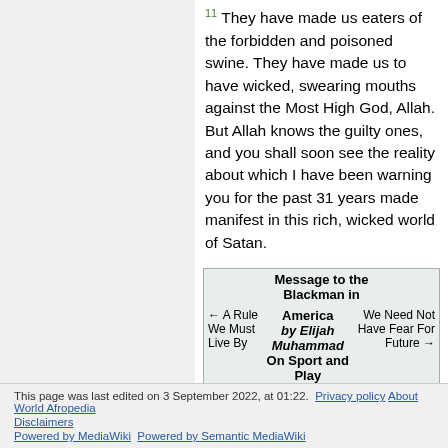11 They have made us eaters of the forbidden and poisoned swine. They have made us to have wicked, swearing mouths against the Most High God, Allah. But Allah knows the guilty ones, and you shall soon see the reality about which I have been warning you for the past 31 years made manifest in this rich, wicked world of Satan.
| ← A Rule We Must Live By | Message to the Blackman in America by Elijah Muhammad On Sport and Play | We Need Not Have Fear For Future → |
| --- | --- | --- |
Category: Subpages
This page was last edited on 3 September 2022, at 01:22. Privacy policy About World Afropedia Disclaimers Powered by MediaWiki Powered by Semantic MediaWiki